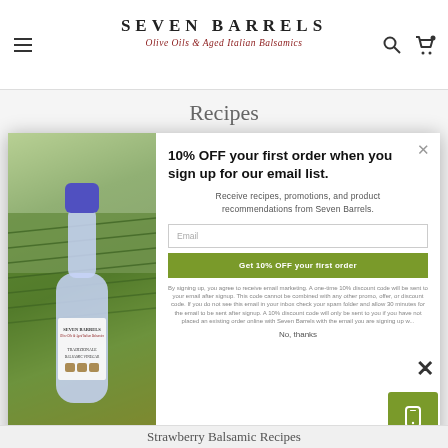SEVEN BARRELS — Olive Oils & Aged Italian Balsamics
Recipes
[Figure (screenshot): Popup modal with a Seven Barrels balsamic vinegar bottle image on the left against vineyard background, and email signup form on the right offering 10% OFF first order]
10% OFF your first order when you sign up for our email list.
Receive recipes, promotions, and product recommendations from Seven Barrels.
Get 10% OFF your first order
By signing up, you agree to receive email marketing. A one-time 10% discount code will be sent to your email after signup. This code cannot be combined with any other promo, offer, or discount code. If you do not see this email in your inbox check your spam folder and allow 30 minutes for the email to be sent after signup. A 10% discount code will only be sent to you if you have not placed an existing order online with Seven Barrels with the email you are signing up with.
No, thanks
Strawberry Balsamic Recipes